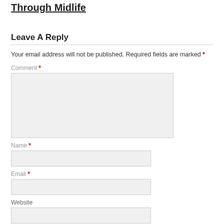Through Midlife
Leave A Reply
Your email address will not be published. Required fields are marked *
Comment *
Name *
Email *
Website